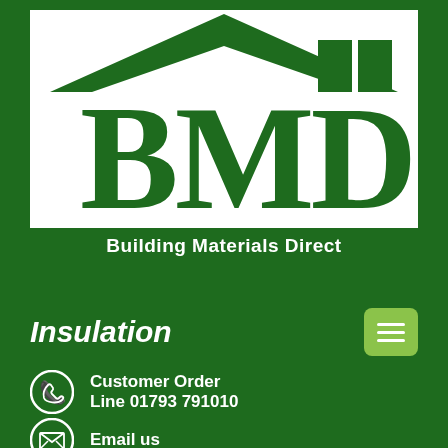[Figure (logo): BMD Building Materials Direct logo — large white box with green roof/house outline at top, large green letters BMD inside, and 'Building Materials Direct' text on green bar at bottom]
Insulation
Customer Order Line 01793 791010
Email us